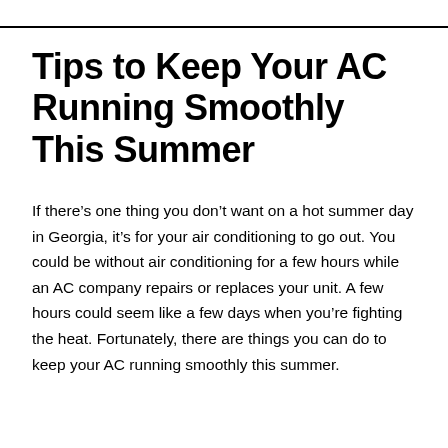Tips to Keep Your AC Running Smoothly This Summer
If there’s one thing you don’t want on a hot summer day in Georgia, it’s for your air conditioning to go out. You could be without air conditioning for a few hours while an AC company repairs or replaces your unit. A few hours could seem like a few days when you’re fighting the heat. Fortunately, there are things you can do to keep your AC running smoothly this summer.